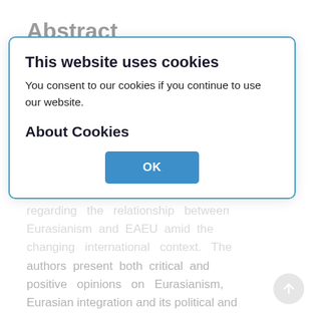Abstract
Eurasianism, in its various interpretations, from ideology to the implementation of the Eurasian Economic Union programs, is regarded as one of the strategies of creating a multipolar world order. This article analyzes the views and assessments of foreign authors regarding the relationship between Eurasianism and EAEU amid the changing international context. The authors present both critical and positive opinions on Eurasianism, Eurasian integration and its political and economic interlinkages with other
This website uses cookies
You consent to our cookies if you continue to use our website.

About Cookies

OK